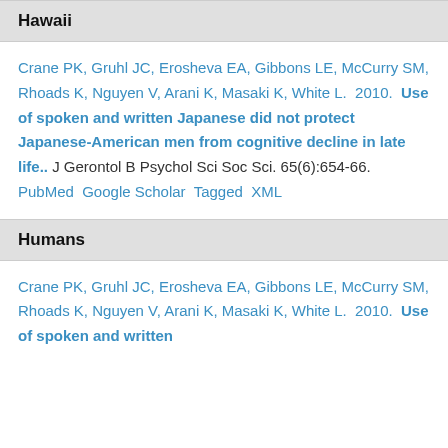Hawaii
Crane PK, Gruhl JC, Erosheva EA, Gibbons LE, McCurry SM, Rhoads K, Nguyen V, Arani K, Masaki K, White L. 2010. Use of spoken and written Japanese did not protect Japanese-American men from cognitive decline in late life.. J Gerontol B Psychol Sci Soc Sci. 65(6):654-66. PubMed Google Scholar Tagged XML
Humans
Crane PK, Gruhl JC, Erosheva EA, Gibbons LE, McCurry SM, Rhoads K, Nguyen V, Arani K, Masaki K, White L. 2010. Use of spoken and written